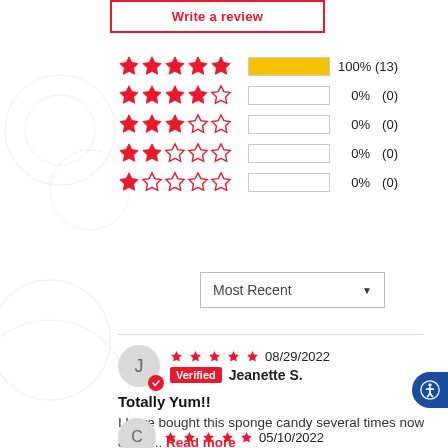[Figure (other): Write a review button with red border and red text]
[Figure (bar-chart): Star rating distribution]
Most Recent ▼
★★★★★ 08/29/2022 Verified Jeanette S.
Totally Yum!!
I have bought this sponge candy several times now & it is... Read more
★★★★★ 05/10/2022